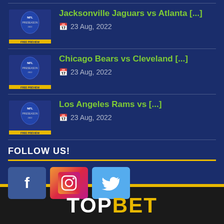Jacksonville Jaguars vs Atlanta [...]
23 Aug, 2022
Chicago Bears vs Cleveland [...]
23 Aug, 2022
Los Angeles Rams vs [...]
23 Aug, 2022
FOLLOW US!
[Figure (logo): Facebook, Instagram, and Twitter social media icons]
[Figure (logo): TOPBET logo with white TOP and yellow BET text on dark background]